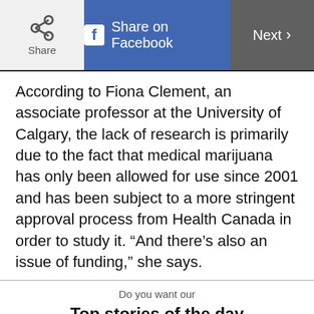Share | Share on Facebook | Next
According to Fiona Clement, an associate professor at the University of Calgary, the lack of research is primarily due to the fact that medical marijuana has only been allowed for use since 2001 and has been subject to a more stringent approval process from Health Canada in order to study it. “And there’s also an issue of funding,” she says.
Do you want our
Top stories of the day delivered to your inbox?
YES PLEASE!
NO THANKS